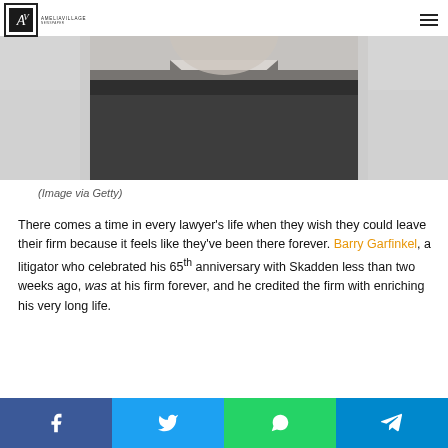AMELIAVILLAGE NEWSPAPER
[Figure (photo): Close-up photo of a person in a dark suit jacket and white shirt, blurred background, low angle view]
(Image via Getty)
There comes a time in every lawyer's life when they wish they could leave their firm because it feels like they've been there forever. Barry Garfinkel, a litigator who celebrated his 65th anniversary with Skadden less than two weeks ago, was at his firm forever, and he credited the firm with enriching his very long life.
Social share bar: Facebook, Twitter, WhatsApp, Telegram